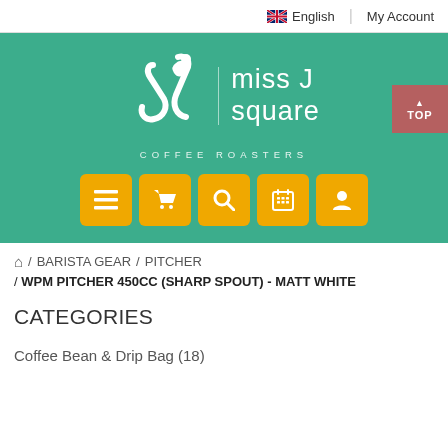English   My Account
[Figure (logo): Miss J Square Coffee Roasters logo on teal/green background with navigation icons]
/ BARISTA GEAR / PITCHER
/ WPM PITCHER 450CC (SHARP SPOUT) - MATT WHITE
CATEGORIES
Coffee Bean & Drip Bag (18)